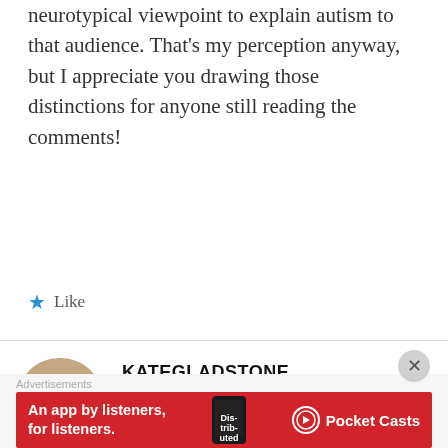neurotypical viewpoint to explain autism to that audience. That's my perception anyway, but I appreciate you drawing those distinctions for anyone still reading the comments!
★ Like
KATEGLADSTONE
November 1, 2015 at 12:48 pm
It is possible to teach new words to your spell-checker. The exact method
Advertisements
[Figure (infographic): Red Pocket Casts advertisement banner: 'An app by listeners, for listeners.' with phone graphic and Pocket Casts logo]